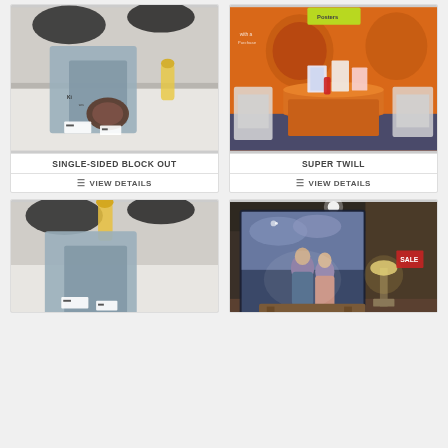[Figure (photo): Photo of single-sided block out fabric samples displayed on hangers at a trade show or store]
SINGLE-SIDED BLOCK OUT
VIEW DETAILS
[Figure (photo): Photo of super twill fabric display at a trade show booth with orange tablecloth and orange backdrop]
SUPER TWILL
VIEW DETAILS
[Figure (photo): Partial photo of fabric samples on hangers, similar to single-sided block out display]
[Figure (photo): Partial photo of a large backlit fabric display in a hotel or showroom setting with romantic imagery]